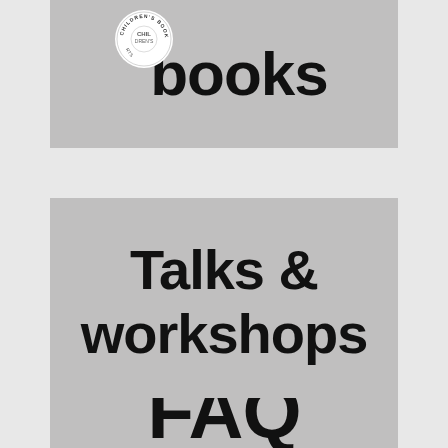[Figure (illustration): Grey card banner with a white circular logo/badge on the left showing children's books and arts text around the border, and large bold handwritten-style text reading 'books' on the right]
[Figure (illustration): Grey card banner with large bold handwritten-style text reading 'Talks & workshops']
[Figure (illustration): Grey card banner with large bold handwritten-style text reading 'FAQ' and partially visible text below]